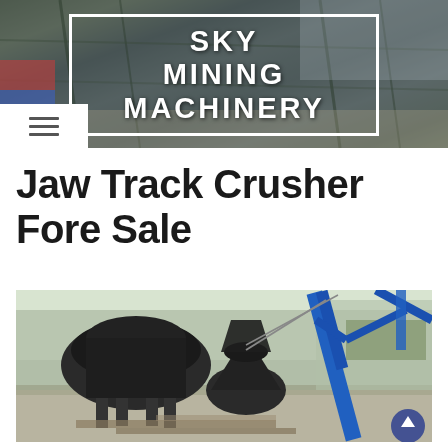SKY MINING MACHINERY
Jaw Track Crusher Fore Sale
[Figure (photo): Industrial jaw track crusher equipment being handled by a blue crane/lifting machine at an outdoor facility. Heavy machinery including a cone crusher and other mining equipment visible in the foreground on a concrete yard.]